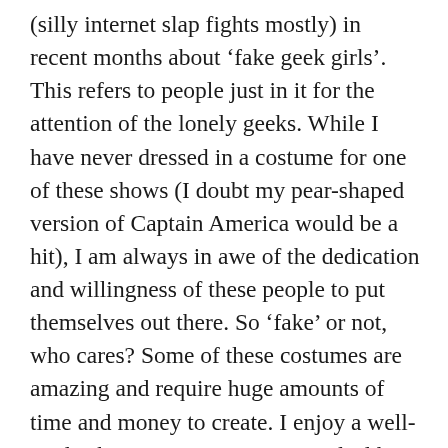(silly internet slap fights mostly) in recent months about ‘fake geek girls’. This refers to people just in it for the attention of the lonely geeks. While I have never dressed in a costume for one of these shows (I doubt my pear-shaped version of Captain America would be a hit), I am always in awe of the dedication and willingness of these people to put themselves out there. So ‘fake’ or not, who cares? Some of these costumes are amazing and require huge amounts of time and money to create. I enjoy a well-made character costume a great deal but the real magic is when a fan uses their imagination to create something unique. That is when these fans really begin to shine and make the experience a special one for themselves and